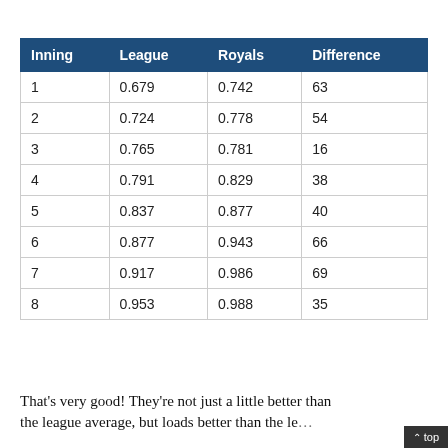| Inning | League | Royals | Difference |
| --- | --- | --- | --- |
| 1 | 0.679 | 0.742 | 63 |
| 2 | 0.724 | 0.778 | 54 |
| 3 | 0.765 | 0.781 | 16 |
| 4 | 0.791 | 0.829 | 38 |
| 5 | 0.837 | 0.877 | 40 |
| 6 | 0.877 | 0.943 | 66 |
| 7 | 0.917 | 0.986 | 69 |
| 8 | 0.953 | 0.988 | 35 |
That's very good! They're not just a little better than the league average, but loads better than the le...